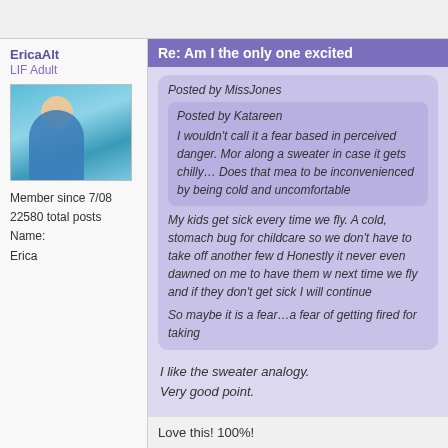EricaAlt
LIF Adult
[Figure (photo): Avatar photo of a child in a pool wearing a blue swimsuit]
Member since 7/08
22580 total posts
Name:
Erica
Re: Am I the only one excited
Posted by MissJones
Posted by Katareen
I wouldn't call it a fear based in perceived danger. Mor along a sweater in case it gets chilly… Does that mea to be inconvenienced by being cold and uncomfortable

My kids get sick every time we fly. A cold, stomach bug for childcare so we don't have to take off another few d Honestly it never even dawned on me to have them w next time we fly and if they don't get sick I will continue

So maybe it is a fear…a fear of getting fired for taking
I like the sweater analogy.
Very good point.
Love this! 100%!